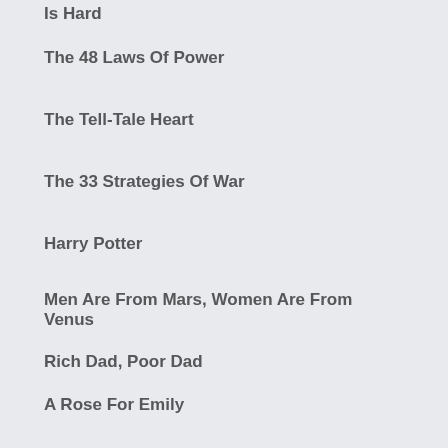Is Hard
The 48 Laws Of Power
The Tell-Tale Heart
The 33 Strategies Of War
Harry Potter
Men Are From Mars, Women Are From Venus
Rich Dad, Poor Dad
A Rose For Emily
Crucial Conversations: Tools For Talking When Stakes Are High
Brutus No. 1